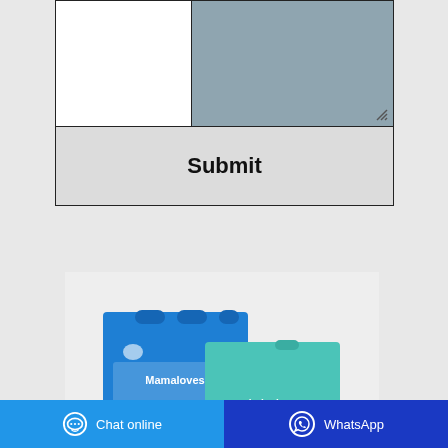[Figure (screenshot): Web form with a textarea (grey/blue) on the right, empty field on the left, and a Submit button below, inside a bordered box.]
[Figure (photo): Product photo showing baby diaper boxes: a blue 'Mamaloves' box and a teal 'bubu bear' box on a light grey background.]
Chat online
WhatsApp